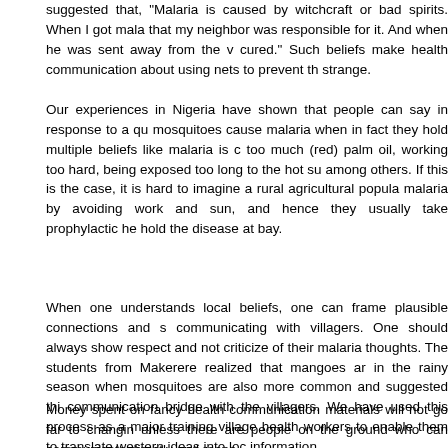suggested that, "Malaria is caused by witchcraft or bad spirits. When I got mala... that my neighbor was responsible for it. And when he was sent away from the v... cured." Such beliefs make health communication about using nets to prevent the... strange.
Our experiences in Nigeria have shown that people can say in response to a qu... mosquitoes cause malaria when in fact they hold multiple beliefs like malaria is c... too much (red) palm oil, working too hard, being exposed too long to the hot su... among others. If this is the case, it is hard to imagine a rural agricultural popula... malaria by avoiding work and sun, and hence they usually take prophylactic her... hold the disease at bay.
When one understands local beliefs, one can frame plausible connections and s... communicating with villagers. One should always show respect and not criticize... of their malaria thoughts. The students from Makerere realized that mangoes ar... in the rainy season when mosquitoes are also more common and suggested thi... communication bridge with the villagers. We have used this process as a major... training village health workers to enable them to translate western ideas into loc... information.
Money spent on fancy health communication materials will not go far to changin... unless there are people on the ground who can communicate directly and respe...